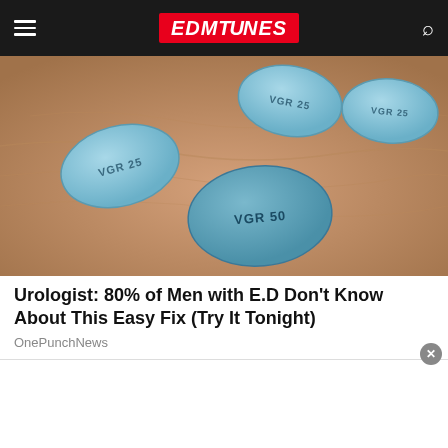EDMTunes
[Figure (photo): Close-up photo of a hand holding multiple blue diamond-shaped pills embossed with 'VGR 25' and 'VGR 50']
Urologist: 80% of Men with E.D Don't Know About This Easy Fix (Try It Tonight)
OnePunchNews
[Figure (photo): Close-up photo of an elderly person's forehead with visible wrinkles]
[Figure (other): White popup/ad bar overlay at the bottom with a close (x) button]